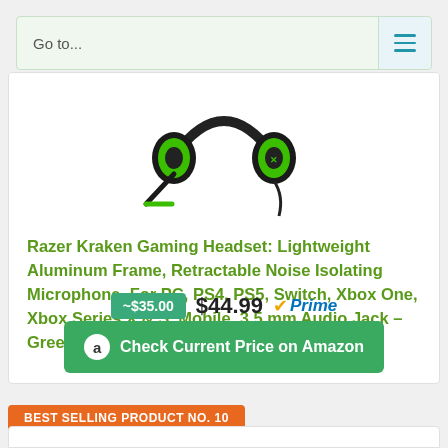Go to...
[Figure (photo): Razer Kraken gaming headset with green ear cups and retractable microphone on white background]
Razer Kraken Gaming Headset: Lightweight Aluminum Frame, Retractable Noise Isolating Microphone, For PC, PS4, PS5, Switch, Xbox One, Xbox Series X & S, Mobile, 3.5 mm Audio Jack – Green
~$35.00  $44.99  Prime  Check Current Price on Amazon
BEST SELLING PRODUCT NO. 10